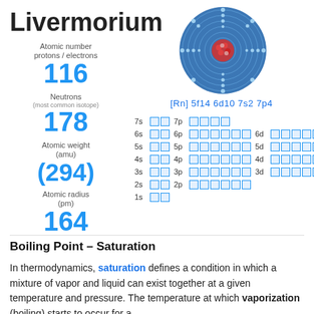Livermorium
Atomic number protons / electrons
116
Neutrons (most common isotope)
178
Atomic weight (amu)
(294)
Atomic radius (pm)
164
[Figure (illustration): Bohr model diagram of Livermorium atom showing concentric electron shells with electron dots on each shell, nucleus shown as cluster of protons and neutrons at center]
[Rn] 5f14 6d10 7s2 7p4
7s [↑↓] 7p [↑][↓][↑][↑]
6s [↑↓] 6p [↑↓][↑↓][↑↓] 6d [↑↓][↑↓][↑↓][↑↓][↑↓]
5s [↑↓] 5p [↑↓][↑↓][↑↓] 5d [↑↓][↑↓][↑↓][↑↓][↑↓] 5f [↑↓][↑↓][↑↓][↑↓][↑↓][↑↓][↑↓]
4s [↑↓] 4p [↑↓][↑↓][↑↓] 4d [↑↓][↑↓][↑↓][↑↓][↑↓] 4f [↑↓][↑↓][↑↓][↑↓][↑↓][↑↓][↑↓]
3s [↑↓] 3p [↑↓][↑↓][↑↓] 3d [↑↓][↑↓][↑↓][↑↓][↑↓]
2s [↑↓] 2p [↑↓][↑↓][↑↓]
1s [↑↓]
Boiling Point – Saturation
In thermodynamics, saturation defines a condition in which a mixture of vapor and liquid can exist together at a given temperature and pressure. The temperature at which vaporization (boiling) starts to occur for a